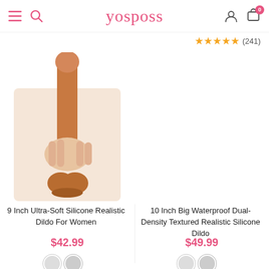yosposs — navigation header with hamburger, search, user, and cart icons
★★★★★ (241)
[Figure (photo): Hand holding a realistic silicone dildo product — 9 Inch Ultra-Soft Silicone Realistic Dildo For Women]
9 Inch Ultra-Soft Silicone Realistic Dildo For Women
$42.99
[Figure (photo): Right column product image area — 10 Inch Big Waterproof Dual-Density Textured Realistic Silicone Dildo (image not visible/cropped)]
10 Inch Big Waterproof Dual-Density Textured Realistic Silicone Dildo
$49.99